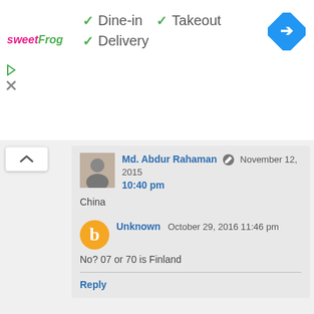[Figure (logo): sweetFrog logo]
✓ Dine-in
✓ Takeout
✓ Delivery
[Figure (illustration): Blue diamond map/directions icon]
Md. Abdur Rahaman [edit] November 12, 2015 10:40 pm
China
Unknown October 29, 2016 11:46 pm
No? 07 or 70 is Finland
Reply
Unknown September 12, 2012 5:14 pm
04 is for china.but its an original phone.not fake.
Reply